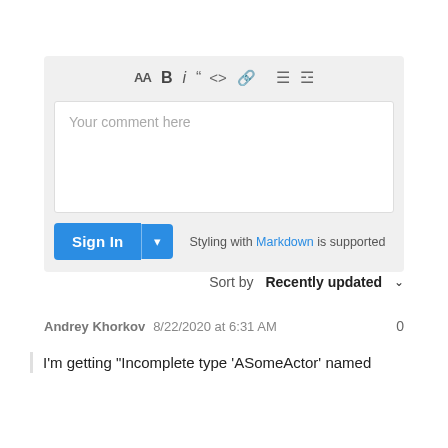[Figure (screenshot): Comment editor toolbar with AA, B, i, quote, code, link, bullet list, numbered list icons]
Your comment here
Sign In ▾   Styling with Markdown is supported
Sort by Recently updated ∨
Andrey Khorkov  8/22/2020 at 6:31 AM   0
I'm getting "Incomplete type 'ASomeActor' named